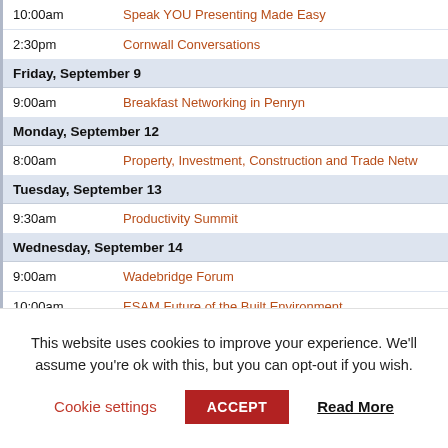| Time | Event |
| --- | --- |
| 10:00am | Speak YOU Presenting Made Easy |
| 2:30pm | Cornwall Conversations |
| Friday, September 9 |  |
| 9:00am | Breakfast Networking in Penryn |
| Monday, September 12 |  |
| 8:00am | Property, Investment, Construction and Trade Netw |
| Tuesday, September 13 |  |
| 9:30am | Productivity Summit |
| Wednesday, September 14 |  |
| 9:00am | Wadebridge Forum |
| 10:00am | ESAM Future of the Built Environment |
| 1:30pm | Leading a sustainable workforce taster event |
| Thursday, September 15 |  |
| 9:00am | Your Partnerships Open House |
| 9:30am | Innovation Surgery |
This website uses cookies to improve your experience. We'll assume you're ok with this, but you can opt-out if you wish.
Cookie settings  ACCEPT  Read More